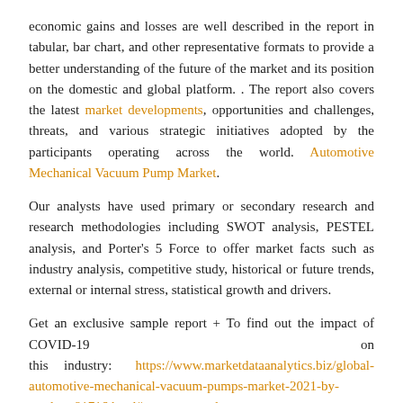economic gains and losses are well described in the report in tabular, bar chart, and other representative formats to provide a better understanding of the future of the market and its position on the domestic and global platform. . The report also covers the latest market developments, opportunities and challenges, threats, and various strategic initiatives adopted by the participants operating across the world. Automotive Mechanical Vacuum Pump Market.
Our analysts have used primary or secondary research and research methodologies including SWOT analysis, PESTEL analysis, and Porter's 5 Force to offer market facts such as industry analysis, competitive study, historical or future trends, external or internal stress, statistical growth and drivers.
Get an exclusive sample report + To find out the impact of COVID-19 on this industry: https://www.marketdataanalytics.biz/global-automotive-mechanical-vacuum-pumps-market-2021-by-product-91716.html#request-sample
(Download a free sample report to understand the impact of COVID-19